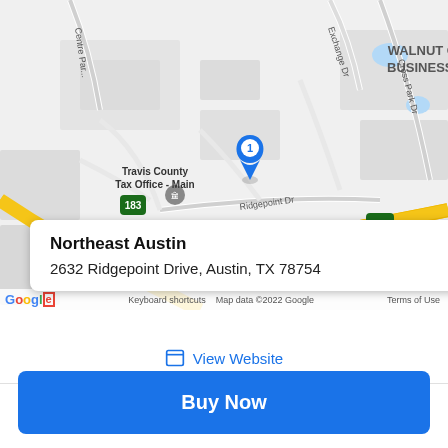[Figure (map): Google Maps satellite/road view showing the area around 2632 Ridgepoint Drive, Austin, TX 78754. Shows Walnut Creek Business Park label, Travis County Tax Office - Main, highways 183 and 290, Cross Park Dr, Ridgepoint Dr, Exchange Dr, Centre Pkwy. A blue location pin marked '1' is placed at the location. Yellow highway roads are visible. Two blue water bodies visible at top right.]
Northeast Austin
2632 Ridgepoint Drive, Austin, TX 78754
View Website
Buy Now